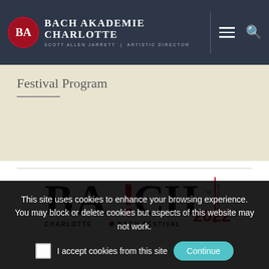Bach Akademie Charlotte | Scott Allen Jarrett | Artistic Director
Festival Program
[Figure (logo): Charlotte Bach Festival logo: BACH with exclamation mark, June 10-18 2022]
This site uses cookies to enhance your browsing experience. You may block or delete cookies but aspects of this website may not work.
I accept cookies from this site   Continue